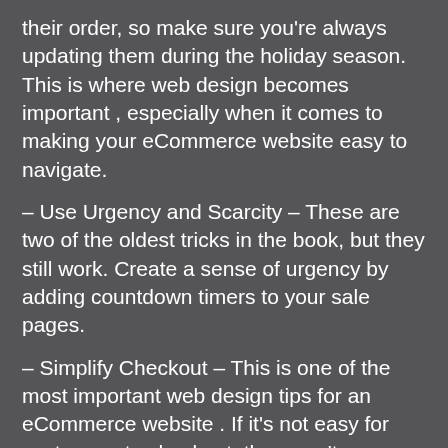their order, so make sure you're always updating them during the holiday season. This is where web design becomes important , especially when it comes to making your eCommerce website easy to navigate.
– Use Urgency and Scarcity – These are two of the oldest tricks in the book, but they still work. Create a sense of urgency by adding countdown timers to your sale pages.
– Simplify Checkout – This is one of the most important web design tips for an eCommerce website . If it's not easy for customers to checkout, they won't.
– Use Testimonials – Customer testimonials are a great way to show off your products and increase trust.
– Make sure Your Website is Mobile Friendly – This is becoming increasingly important, as more and more people shop on their mobile devices.
– Use Social Proof – Showing that your products are popular